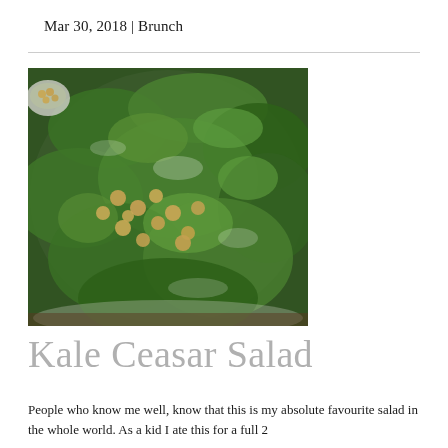Mar 30, 2018 | Brunch
[Figure (photo): Close-up photograph of a kale Caesar salad in a white bowl with chickpeas and white dressing]
Kale Ceasar Salad
People who know me well, know that this is my absolute favourite salad in the whole world. As a kid I ate this for a full 2